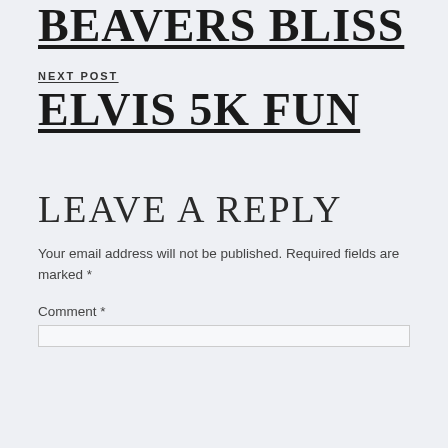BEAVERS BLISS
NEXT POST
ELVIS 5K FUN
LEAVE A REPLY
Your email address will not be published. Required fields are marked *
Comment *